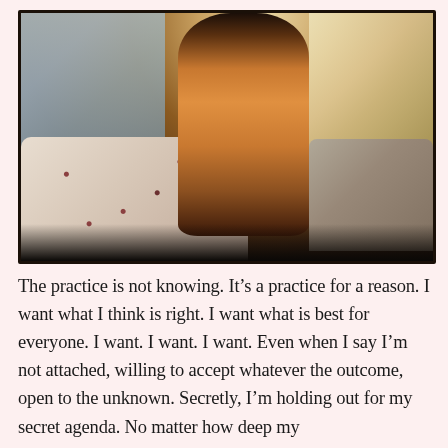[Figure (photo): A dog (appears to be a golden or reddish-brown dog) sitting on a couch or bed with floral pillows, looking out a window. The photo has warm, moody lighting with the dog silhouetted against the bright window. Shot from behind.]
The practice is not knowing. It's a practice for a reason. I want what I think is right. I want what is best for everyone. I want. I want. I want. Even when I say I'm not attached, willing to accept whatever the outcome, open to the unknown. Secretly, I'm holding out for my secret agenda. No matter how deep my